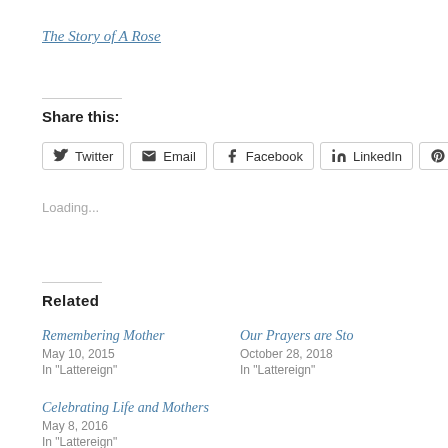The Story of A Rose
Share this:
Twitter  Email  Facebook  LinkedIn  Pinterest
Loading...
Related
Remembering Mother
May 10, 2015
In "Lattereign"
Our Prayers are Sto
October 28, 2018
In "Lattereign"
Celebrating Life and Mothers
May 8, 2016
In "Lattereign"